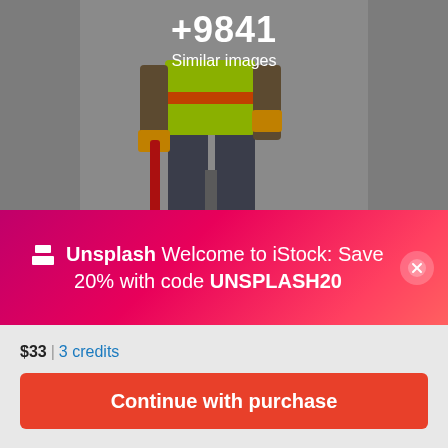[Figure (photo): Construction worker in high-visibility vest and jeans holding a red tool, standing against a gray background. Overlay shows +9841 Similar images.]
+9841
Similar images
Unsplash Welcome to iStock: Save 20% with code UNSPLASH20
$33 | 3 credits
Continue with purchase